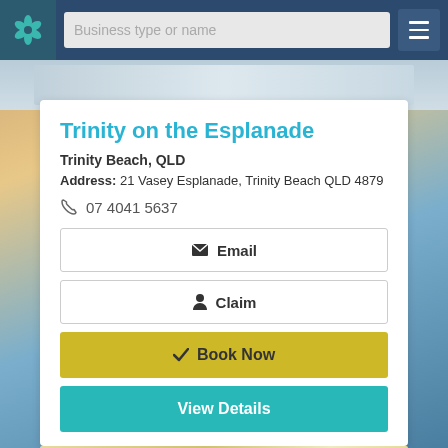[Figure (screenshot): Navigation bar with teal flower logo, search field reading 'Business type or name', and hamburger menu button on dark blue background]
[Figure (photo): Partial beach/esplanade photo strip below nav bar]
Trinity on the Esplanade
Trinity Beach, QLD
Address: 21 Vasey Esplanade, Trinity Beach QLD 4879
07 4041 5637
Email
Claim
Book Now
View Details
[Figure (photo): Partial interior/room photo at the bottom of the card]